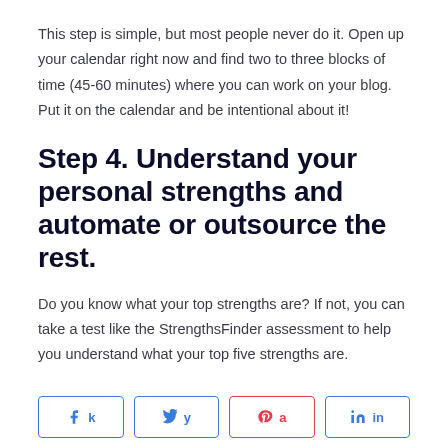This step is simple, but most people never do it. Open up your calendar right now and find two to three blocks of time (45-60 minutes) where you can work on your blog. Put it on the calendar and be intentional about it!
Step 4. Understand your personal strengths and automate or outsource the rest.
Do you know what your top strengths are? If not, you can take a test like the StrengthsFinder assessment to help you understand what your top five strengths are.